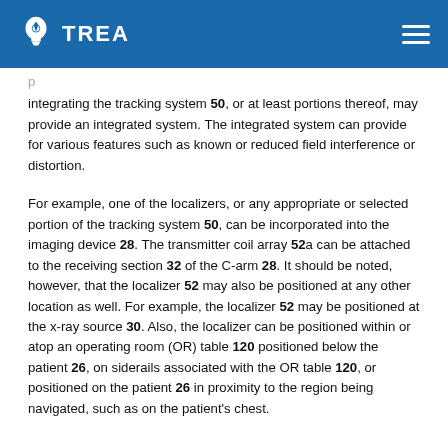TREA
integrating the tracking system 50, or at least portions thereof, may provide an integrated system. The integrated system can provide for various features such as known or reduced field interference or distortion.
For example, one of the localizers, or any appropriate or selected portion of the tracking system 50, can be incorporated into the imaging device 28. The transmitter coil array 52a can be attached to the receiving section 32 of the C-arm 28. It should be noted, however, that the localizer 52 may also be positioned at any other location as well. For example, the localizer 52 may be positioned at the x-ray source 30. Also, the localizer can be positioned within or atop an operating room (OR) table 120 positioned below the patient 26, on siderails associated with the OR table 120, or positioned on the patient 26 in proximity to the region being navigated, such as on the patient's chest.